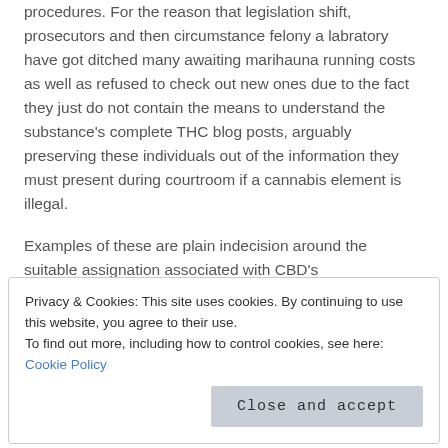procedures. For the reason that legislation shift, prosecutors and then circumstance felony a labratory have got ditched many awaiting marihauna running costs as well as refused to check out new ones due to the fact they just do not contain the means to understand the substance's complete THC blog posts, arguably preserving these individuals out of the information they must present during courtroom if a cannabis element is illegal.
Examples of these are plain indecision around the suitable assignation associated with CBD's psychopharmacological motions, the place will it belong to inside the politically best drug battle catechism, alleged sedative consequences, its software involved with measures if you are an opponent from CB1, a lawful history for People commerce, its metabolic destiny inside individual operations,
Privacy & Cookies: This site uses cookies. By continuing to use this website, you agree to their use.
To find out more, including how to control cookies, see here: Cookie Policy
Close and accept